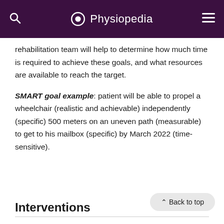Physiopedia
rehabilitation team will help to determine how much time is required to achieve these goals, and what resources are available to reach the target.
SMART goal example: patient will be able to propel a wheelchair (realistic and achievable) independently (specific) 500 meters on an uneven path (measurable) to get to his mailbox (specific) by March 2022 (time-sensitive).
Interventions